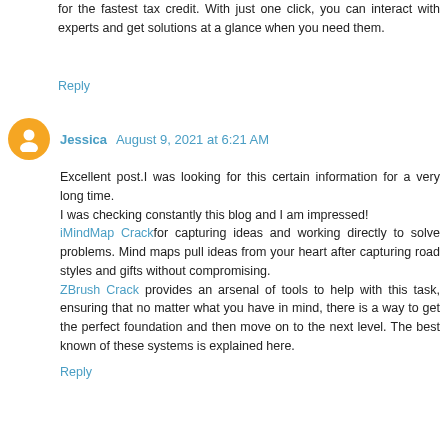for the fastest tax credit. With just one click, you can interact with experts and get solutions at a glance when you need them.
Reply
Jessica  August 9, 2021 at 6:21 AM
Excellent post.I was looking for this certain information for a very long time.
I was checking constantly this blog and I am impressed!
iMindMap Crackfor capturing ideas and working directly to solve problems. Mind maps pull ideas from your heart after capturing road styles and gifts without compromising.
ZBrush Crack provides an arsenal of tools to help with this task, ensuring that no matter what you have in mind, there is a way to get the perfect foundation and then move on to the next level. The best known of these systems is explained here.
Reply